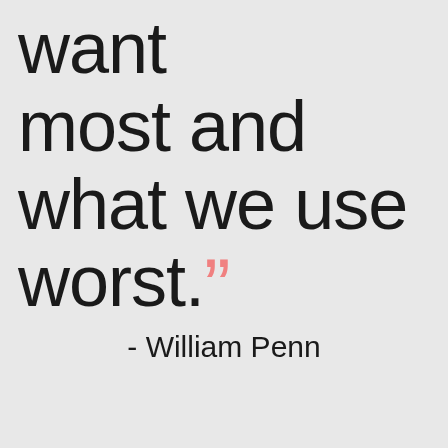want most and what we use worst.”
- William Penn